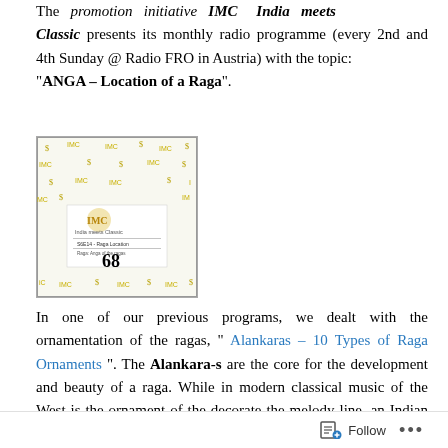The promotion initiative IMC India meets Classic presents its monthly radio programme (every 2nd and 4th Sunday @ Radio FRO in Austria) with the topic: "ANGA – Location of a Raga".
[Figure (illustration): IMC India meets Classic album/programme cover numbered 68, with decorative gold musical motifs on white background, showing the IMC logo and text 'Raga Location'.]
In one of our previous programs, we dealt with the ornamentation of the ragas, " Alankaras – 10 Types of Raga Ornaments ". The Alankara-s are the core for the development and beauty of a raga. While in modern classical music of the West is the ornament of the decorate the melody line, an Indian music maestro will improvise on the ornaments of a raga. It is a steady flow
Follow